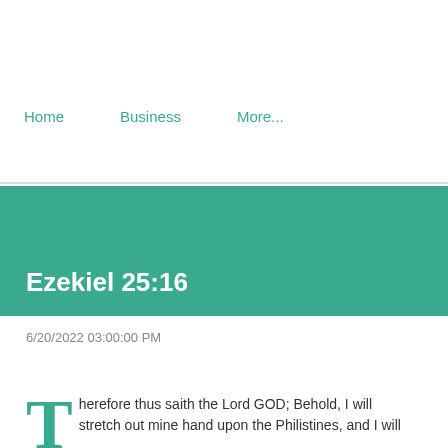Home   Business   More...
Ezekiel 25:16
6/20/2022 03:00:00 PM
Therefore thus saith the Lord GOD; Behold, I will stretch out mine hand upon the Philistines, and I will